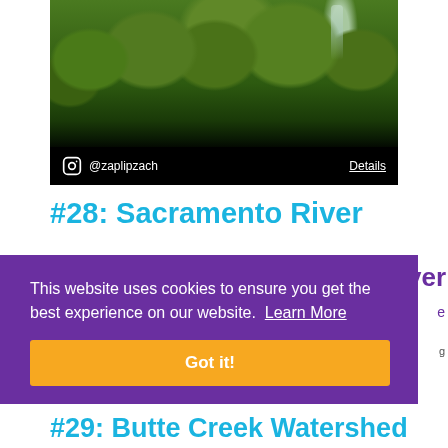[Figure (photo): Aerial or landscape photo of a forested riverside area with dense green trees and a waterfall visible in the background, with a black bar at the bottom showing Instagram handle @zaplipzach and a Details link]
@zaplipzach   Details
#28: Sacramento River
This website uses cookies to ensure you get the best experience on our website.  Learn More
Got it!
#29: Butte Creek Watershed